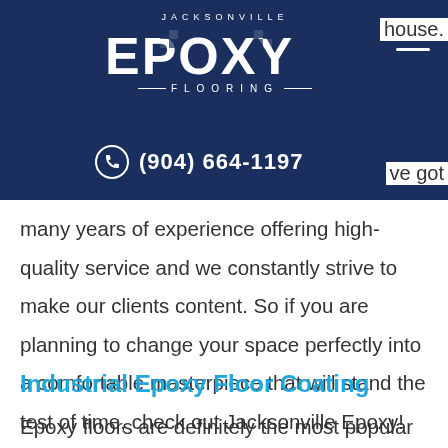[Figure (logo): Jacksonville Epoxy Flooring logo with phone number (904) 664-1197 on dark navy blue header bar]
many years of experience offering high-quality service and we constantly strive to make our clients content. So if you are planning to change your space perfectly into a comfortable masterpiece that will stand the test of time, check out Jacksonville Epoxy! We will be happy to help you in making your vision a reality.
Industrial Epoxy Floor Coating
Epoxy floors are definitely the most popular floor choice for production facilities for their numerous positive aspects over other flooring